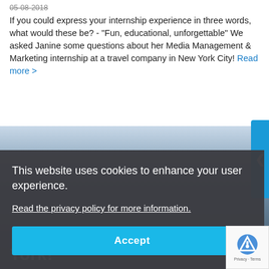05-08-2018
If you could express your internship experience in three words, what would these be? - "Fun, educational, unforgettable" We asked Janine some questions about her Media Management & Marketing internship at a travel company in New York City! Read more >
[Figure (photo): Photo of New York City skyline/waterfront scene, partially visible behind cookie consent overlay]
This website uses cookies to enhance your user experience.
Read the privacy policy for more information.
Accept
York!